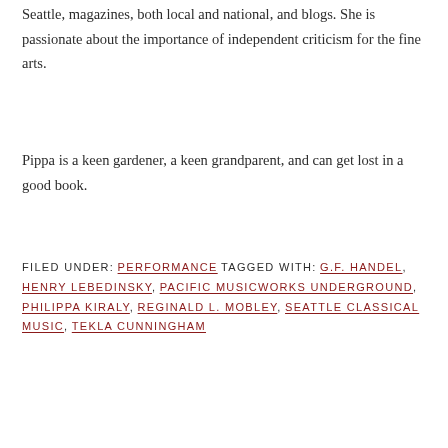Seattle, magazines, both local and national, and blogs. She is passionate about the importance of independent criticism for the fine arts.
Pippa is a keen gardener, a keen grandparent, and can get lost in a good book.
FILED UNDER: PERFORMANCE TAGGED WITH: G.F. HANDEL, HENRY LEBEDINSKY, PACIFIC MUSICWORKS UNDERGROUND, PHILIPPA KIRALY, REGINALD L. MOBLEY, SEATTLE CLASSICAL MUSIC, TEKLA CUNNINGHAM